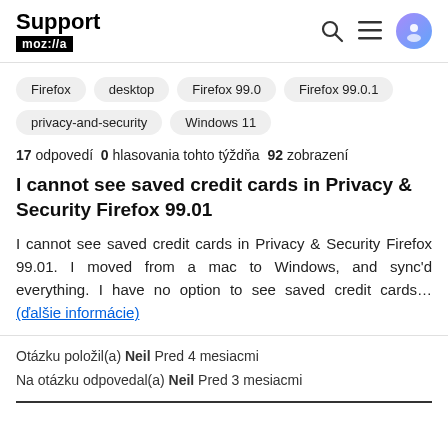Support mozilla
Firefox
desktop
Firefox 99.0
Firefox 99.0.1
privacy-and-security
Windows 11
17 odpovedí 0 hlasovania tohto týždňa 92 zobrazení
I cannot see saved credit cards in Privacy & Security Firefox 99.01
I cannot see saved credit cards in Privacy & Security Firefox 99.01. I moved from a mac to Windows, and sync'd everything. I have no option to see saved credit cards... (ďalšie informácie)
Otázku položil(a) Neil Pred 4 mesiacmi
Na otázku odpovedal(a) Neil Pred 3 mesiacmi